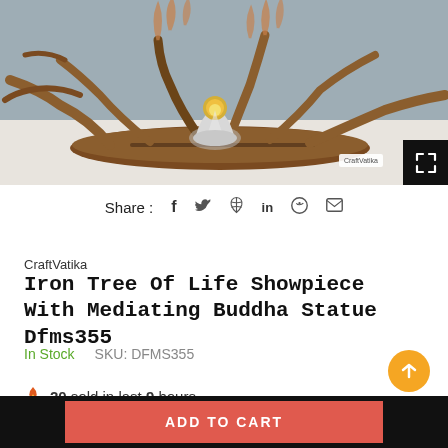[Figure (photo): Iron Tree of Life showpiece with a meditating golden Buddha statue on a wooden oval base, photographed against a gray-white background]
Share : f  🐦  𝒑  in  ⊙  ✉
CraftVatika
Iron Tree Of Life Showpiece With Mediating Buddha Statue Dfms355
In Stock   SKU: DFMS355
🔥 20 sold in last 9 hours
ADD TO CART